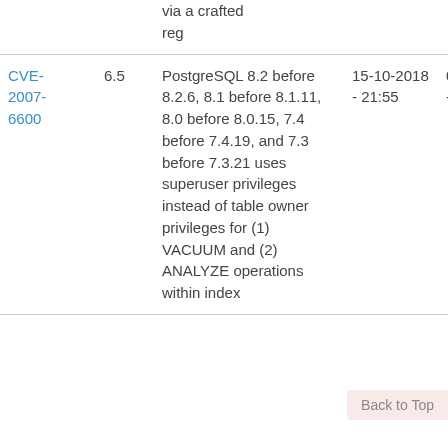| CVE | Score | Description | Modified | Published |
| --- | --- | --- | --- | --- |
| (partial) via a crafted reg |  |  |  |  |
| CVE-2007-6600 | 6.5 | PostgreSQL 8.2 before 8.2.6, 8.1 before 8.1.11, 8.0 before 8.0.15, 7.4 before 7.4.19, and 7.3 before 7.3.21 uses superuser privileges instead of table owner privileges for (1) VACUUM and (2) ANALYZE operations within index... | 15-10-2018 - 21:55 | 09-01-2008 - 21:46 |